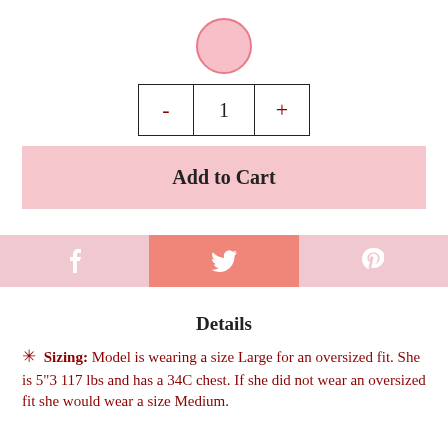[Figure (illustration): A pink circle color swatch with a darker pink border, centered at the top of the page.]
- 1 +
Add to Cart
[Figure (infographic): Social share buttons: Facebook (f), Twitter (bird icon), Pinterest (p) in shades of pink.]
Details
✳ Sizing: Model is wearing a size Large for an oversized fit. She is 5"3 117 lbs and has a 34C chest. If she did not wear an oversized fit she would wear a size Medium.